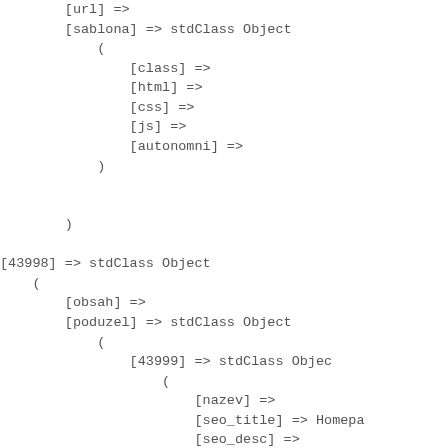[url] =>
[sablona] => stdClass Object
    (
        [class] =>
        [html] =>
        [css] =>
        [js] =>
        [autonomni] =>
    )

)

[43998] => stdClass Object
(
    [obsah] =>
    [poduzel] => stdClass Object
        (
            [43999] => stdClass Objec
                (
                    [nazev] =>
                    [seo_title] => Homepa
                    [seo_desc] =>